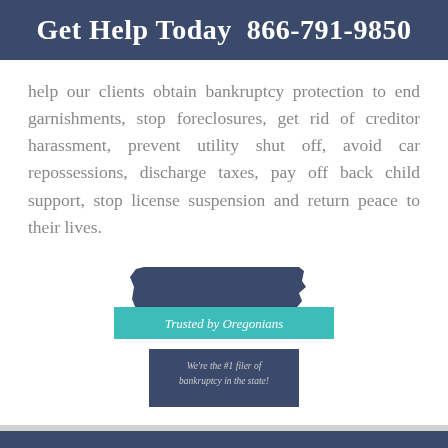Get Help Today  866-791-9850
help our clients obtain bankruptcy protection to end garnishments, stop foreclosures, get rid of creditor harassment, prevent utility shut off, avoid car repossessions, discharge taxes, pay off back child support, stop license suspension and return peace to their lives.
[Figure (illustration): Oregon state outline shape in dark blue with a teal ribbon banner reading 'Trusted by Oregonians' and a dark blue badge below reading 'We're the #1 filer of bankruptcy in the state!']
Bankruptcy and Personal Injury Attorney in Vancouver | OlsenDaines | Serving All Of